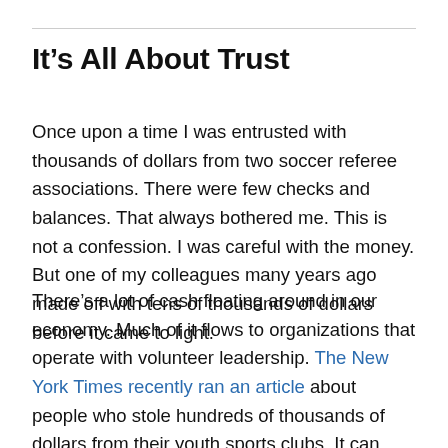It’s All About Trust
Once upon a time I was entrusted with thousands of dollars from two soccer referee associations. There were few checks and balances. That always bothered me. This is not a confession. I was careful with the money. But one of my colleagues many years ago made off with tens of thousands of dollars before it came to light.
There’s a lot of cash floating around in our economy. Much of it flows to organizations that operate with volunteer leadership. The New York Times recently ran an article about people who stole hundreds of thousands of dollars from their youth sports clubs. It can happen in churches, service clubs, school support organizations.